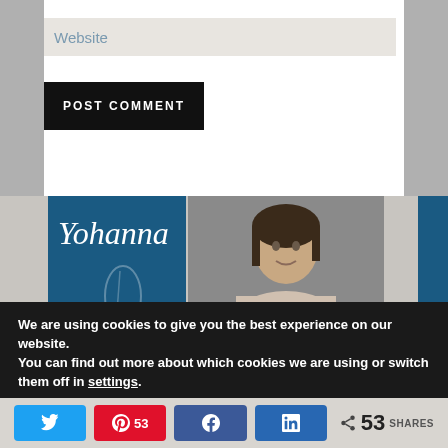Website
POST COMMENT
[Figure (photo): Blue book cover with cursive 'Yohanna' text and a person's portrait photo side by side in a banner]
We are using cookies to give you the best experience on our website.
You can find out more about which cookies we are using or switch them off in settings.
53 SHARES (Twitter, Pinterest 53, Facebook, LinkedIn share buttons)